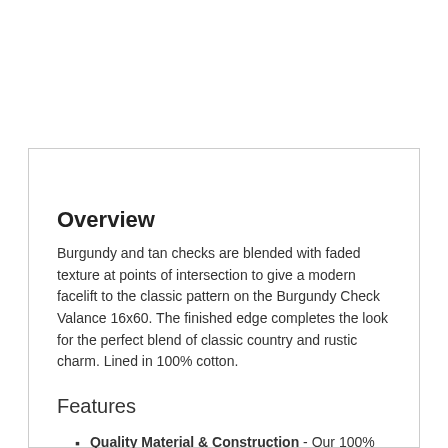Overview
Burgundy and tan checks are blended with faded texture at points of intersection to give a modern facelift to the classic pattern on the Burgundy Check Valance 16x60. The finished edge completes the look for the perfect blend of classic country and rustic charm. Lined in 100% cotton.
Features
Quality Material & Construction - Our 100% soft cotton curtains lend interest and quality to your living